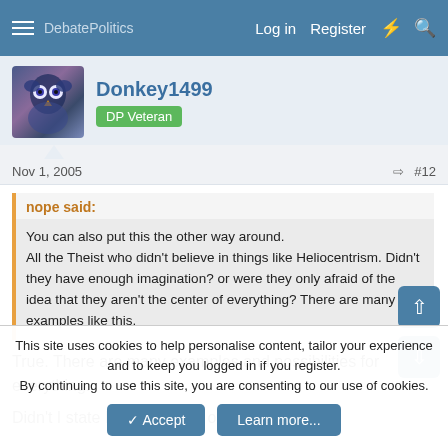DebatePolitics  Log in  Register
Donkey1499
DP Veteran
Nov 1, 2005  #12
nope said:
You can also put this the other way around. All the Theist who didn't believe in things like Heliocentrism. Didn't they have enough imagination? or were they only afraid of the idea that they aren't the center of everything? There are many examples like this.
True. There are many examples and possibilities for everything.
Didn't I state Murphy's Law on here?
This site uses cookies to help personalise content, tailor your experience and to keep you logged in if you register.
By continuing to use this site, you are consenting to our use of cookies.
✓ Accept   Learn more...